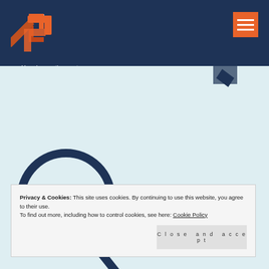[Figure (logo): Company logo with orange stylized arrow/chevron marks and 'ST' text, tagline 'Your innovation partner']
[Figure (illustration): Light blue background with decorative circular gauge/speedometer illustration in orange and dark navy blue, partial view]
Privacy & Cookies: This site uses cookies. By continuing to use this website, you agree to their use.
To find out more, including how to control cookies, see here: Cookie Policy
Close and accept